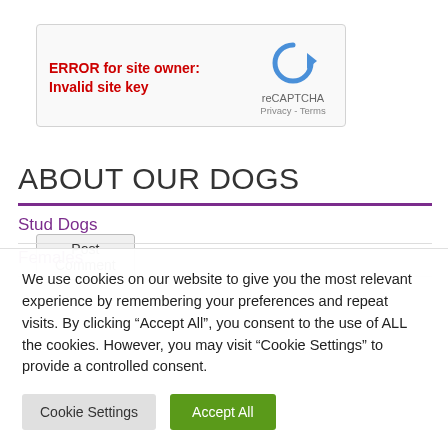[Figure (other): reCAPTCHA widget showing error message 'ERROR for site owner: Invalid site key' in red bold text on left, and the reCAPTCHA logo (blue circular arrow icon) with 'reCAPTCHA' label and 'Privacy - Terms' links on the right, inside a light grey bordered box]
Post Comment
ABOUT OUR DOGS
Stud Dogs
Females
We use cookies on our website to give you the most relevant experience by remembering your preferences and repeat visits. By clicking “Accept All”, you consent to the use of ALL the cookies. However, you may visit “Cookie Settings” to provide a controlled consent.
Cookie Settings
Accept All